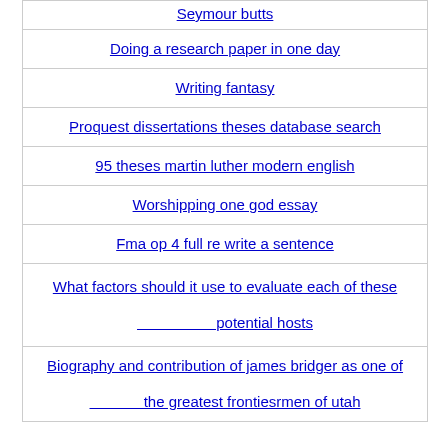| Seymour butts |
| Doing a research paper in one day |
| Writing fantasy |
| Proquest dissertations theses database search |
| 95 theses martin luther modern english |
| Worshipping one god essay |
| Fma op 4 full re write a sentence |
| What factors should it use to evaluate each of these

potential hosts |
| Biography and contribution of james bridger as one of

the greatest frontiesrmen of utah |